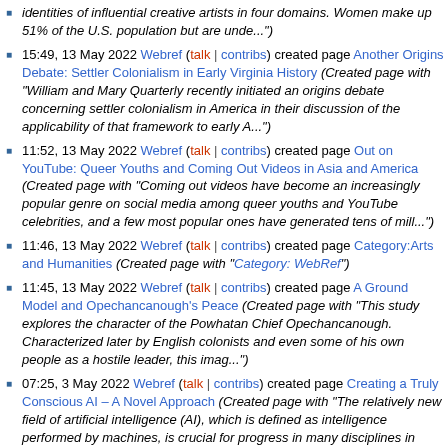identities of influential creative artists in four domains. Women make up 51% of the U.S. population but are unde...")
15:49, 13 May 2022 Webref (talk | contribs) created page Another Origins Debate: Settler Colonialism in Early Virginia History (Created page with "William and Mary Quarterly recently initiated an origins debate concerning settler colonialism in America in their discussion of the applicability of that framework to early A...")
11:52, 13 May 2022 Webref (talk | contribs) created page Out on YouTube: Queer Youths and Coming Out Videos in Asia and America (Created page with "Coming out videos have become an increasingly popular genre on social media among queer youths and YouTube celebrities, and a few most popular ones have generated tens of mill...")
11:46, 13 May 2022 Webref (talk | contribs) created page Category:Arts and Humanities (Created page with "Category: WebRef")
11:45, 13 May 2022 Webref (talk | contribs) created page A Ground Model and Opechancanough's Peace (Created page with "This study explores the character of the Powhatan Chief Opechancanough. Characterized later by English colonists and even some of his own people as a hostile leader, this imag...")
07:25, 3 May 2022 Webref (talk | contribs) created page Creating a Truly Conscious AI – A Novel Approach (Created page with "The relatively new field of artificial intelligence (AI), which is defined as intelligence performed by machines, is crucial for progress in many disciplines in today's societ...")